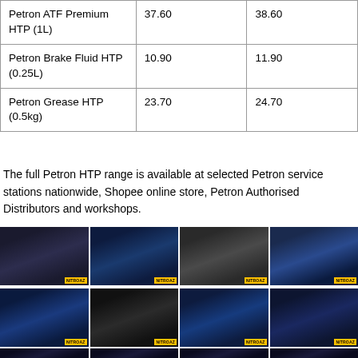| Petron ATF Premium HTP (1L) | 37.60 | 38.60 |
| Petron Brake Fluid HTP (0.25L) | 10.90 | 11.90 |
| Petron Grease HTP (0.5kg) | 23.70 | 24.70 |
The full Petron HTP range is available at selected Petron service stations nationwide, Shopee online store, Petron Authorised Distributors and workshops.
[Figure (photo): Grid of 8 event photos showing Petron product launch presentations, displays, and speakers at a conference/press event, with NITROAZ watermark badges.]
[Figure (photo): Partial row of 4 event photos at bottom, partially cut off.]